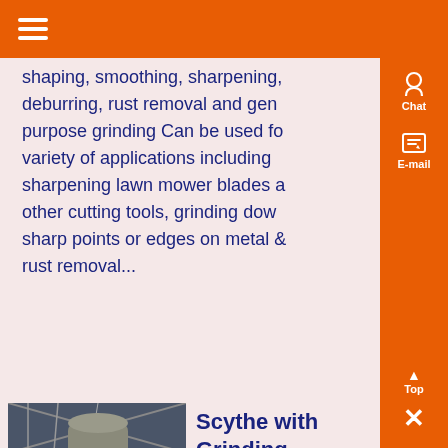Navigation menu bar with hamburger icon
shaping, smoothing, sharpening, deburring, rust removal and general purpose grinding Can be used for a variety of applications including sharpening lawn mower blades and other cutting tools, grinding down sharp points or edges on metal and rust removal...
[Figure (photo): Industrial or warehouse interior photo showing large equipment or silo structure]
Scythe with Grinding Stone 4 7
Know More